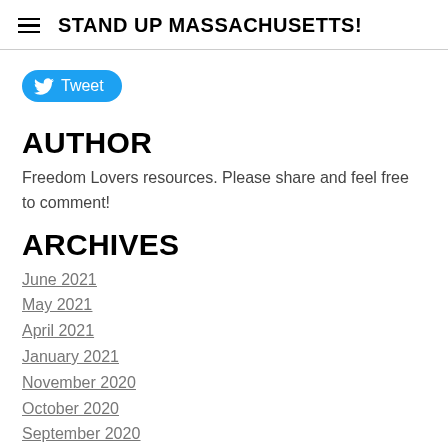STAND UP MASSACHUSETTS!
[Figure (other): Twitter Tweet button with bird icon]
AUTHOR
Freedom Lovers resources. Please share and feel free to comment!
ARCHIVES
June 2021
May 2021
April 2021
January 2021
November 2020
October 2020
September 2020
CATEGORY